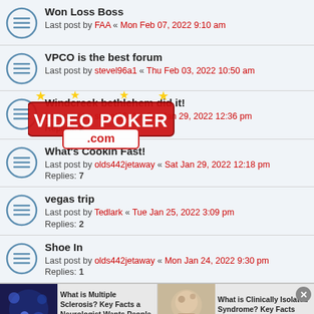Won Loss Boss
Last post by FAA « Mon Feb 07, 2022 9:10 am
VPCO is the best forum
Last post by stevel96a1 « Thu Feb 03, 2022 10:50 am
Windcreek bethlehem did it!
Last post by stevel96a1 « Sat Jan 29, 2022 12:36 pm
Replies: 2
What's Cookin Fast!
Last post by olds442jetaway « Sat Jan 29, 2022 12:18 pm
Replies: 7
vegas trip
Last post by Tedlark « Tue Jan 25, 2022 3:09 pm
Replies: 2
Shoe In
Last post by olds442jetaway « Mon Jan 24, 2022 9:30 pm
Replies: 1
[Figure (advertisement): Two ad units side by side: 'What is Multiple Sclerosis? Key Facts a Neurologist Wants People to Know' and 'What is Clinically Isolated Syndrome? Key Facts About This MS Subtype']
This site uses cookies for personalized content and analytics. By continuing to use this site, you agree to this use. Close